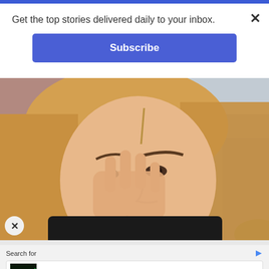Get the top stories delivered daily to your inbox.
Subscribe
[Figure (photo): Blonde woman rubbing her eye with her hand, outdoors with blurred background]
Search for
Stocks That Will Make You Rich
Yahoo! Search | Sponsored